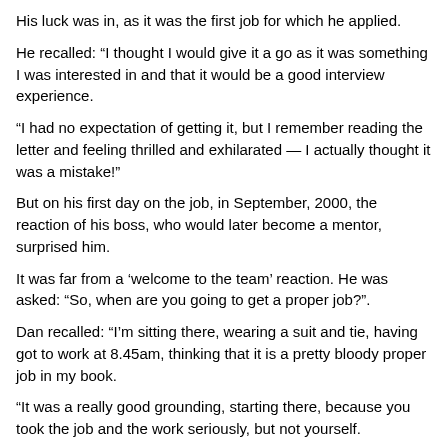His luck was in, as it was the first job for which he applied.
He recalled: “I thought I would give it a go as it was something I was interested in and that it would be a good interview experience.
“I had no expectation of getting it, but I remember reading the letter and feeling thrilled and exhilarated — I actually thought it was a mistake!”
But on his first day on the job, in September, 2000, the reaction of his boss, who would later become a mentor, surprised him.
It was far from a ‘welcome to the team’ reaction. He was asked: “So, when are you going to get a proper job?”.
Dan recalled: “I’m sitting there, wearing a suit and tie, having got to work at 8.45am, thinking that it is a pretty bloody proper job in my book.
“It was a really good grounding, starting there, because you took the job and the work seriously, but not yourself.
“It taught me about working together, having humility and seeing the bigger picture.”
Dan worked in several areas during his time at HM Treasury, from public spending to budget and tax policy to international finance, before joining the senior civil service in 2005 to run a team called the Devolved Countries and Regions Scheme.
His biggest role, at that point, was being handed the purse strings for the 2012 London Olympics.
He recalled: “I was the mug who took the job on of leading the treasury effort at putting a budget together for the Olympics the day after we won